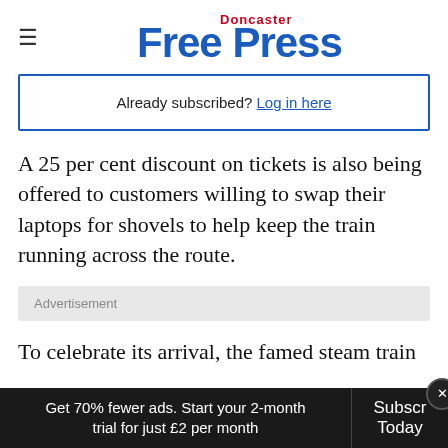Doncaster Free Press
Already subscribed? Log in here
A 25 per cent discount on tickets is also being offered to customers willing to swap their laptops for shovels to help keep the train running across the route.
Advertisement
To celebrate its arrival, the famed steam train
Get 70% fewer ads. Start your 2-month trial for just £2 per month  Subscribe Today